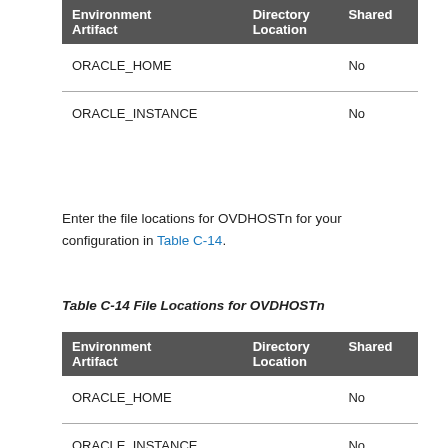| Environment Artifact | Directory Location | Shared |
| --- | --- | --- |
| ORACLE_HOME |  | No |
| ORACLE_INSTANCE |  | No |
Enter the file locations for OVDHOSTn for your configuration in Table C-14.
Table C-14 File Locations for OVDHOSTn
| Environment Artifact | Directory Location | Shared |
| --- | --- | --- |
| ORACLE_HOME |  | No |
| ORACLE_INSTANCE |  | No |